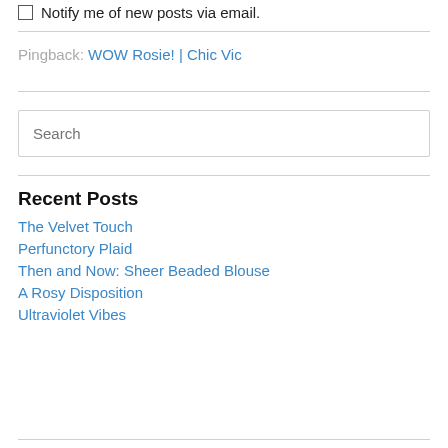Notify me of new posts via email.
Pingback: WOW Rosie! | Chic Vic
Search
Recent Posts
The Velvet Touch
Perfunctory Plaid
Then and Now: Sheer Beaded Blouse
A Rosy Disposition
Ultraviolet Vibes